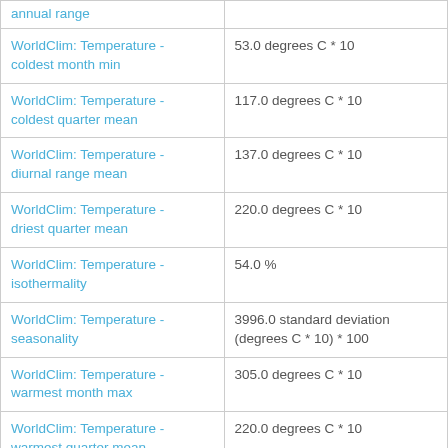| Variable | Value |
| --- | --- |
| annual range |  |
| WorldClim: Temperature - coldest month min | 53.0 degrees C * 10 |
| WorldClim: Temperature - coldest quarter mean | 117.0 degrees C * 10 |
| WorldClim: Temperature - diurnal range mean | 137.0 degrees C * 10 |
| WorldClim: Temperature - driest quarter mean | 220.0 degrees C * 10 |
| WorldClim: Temperature - isothermality | 54.0 % |
| WorldClim: Temperature - seasonality | 3996.0 standard deviation (degrees C * 10) * 100 |
| WorldClim: Temperature - warmest month max | 305.0 degrees C * 10 |
| WorldClim: Temperature - warmest quarter mean | 220.0 degrees C * 10 |
| WorldClim: Temperature - | 126.0 degrees C * 10 |